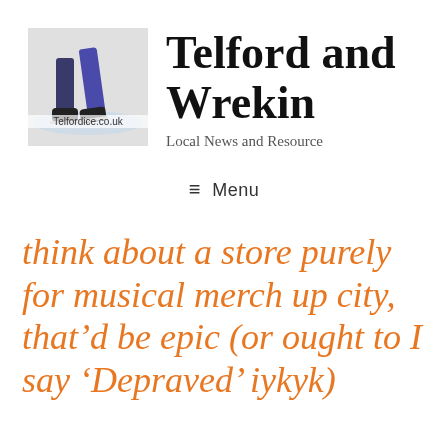[Figure (logo): Telfordice.co.uk logo showing ice skater legs on ice rink surface]
Telford and Wrekin
Local News and Resource
≡ Menu
think about a store purely for musical merch up city, that’d be epic (or ought to I say ‘Depraved’ iykyk)